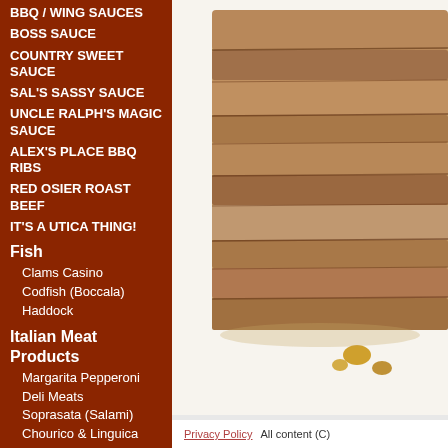BBQ / WING SAUCES
BOSS SAUCE
COUNTRY SWEET SAUCE
SAL'S SASSY SAUCE
UNCLE RALPH'S MAGIC SAUCE
ALEX'S PLACE BBQ Ribs
RED OSIER ROAST BEEF
IT'S A UTICA THING!
Fish
Clams Casino
Codfish (Boccala)
Haddock
Italian Meat Products
Margarita Pepperoni
Deli Meats
Soprasata (Salami)
Chourico & Linguica
Italian Bakery
Cookies / Cannolis
[Figure (photo): Close-up photo of layered cooked meat (ribs or pork), showing texture and caramelized bits on white background]
Price: $17.00
Privacy Policy    All content (C)